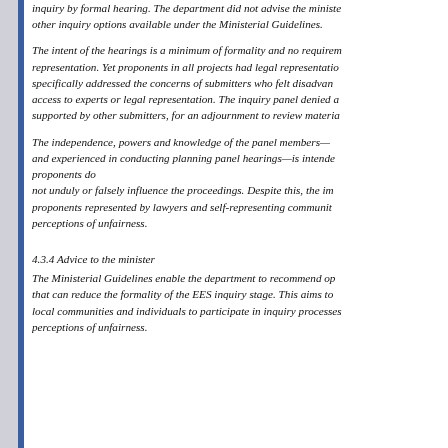inquiry by formal hearing. The department did not advise the minister of other inquiry options available under the Ministerial Guidelines.
The intent of the hearings is a minimum of formality and no requirement for legal representation. Yet proponents in all projects had legal representation. The panel specifically addressed the concerns of submitters who felt disadvantaged by lack of access to experts or legal representation. The inquiry panel denied a request, supported by other submitters, for an adjournment to review material.
The independence, powers and knowledge of the panel members—who are qualified and experienced in conducting planning panel hearings—is intended to ensure that proponents do not unduly or falsely influence the proceedings. Despite this, the imbalance between proponents represented by lawyers and self-representing community members created perceptions of unfairness.
4.3.4 Advice to the minister
The Ministerial Guidelines enable the department to recommend options to the minister that can reduce the formality of the EES inquiry stage. This aims to make it easier for local communities and individuals to participate in inquiry processes and to reduce perceptions of unfairness.